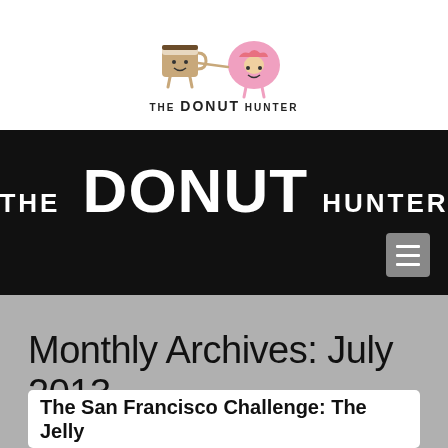[Figure (logo): The Donut Hunter logo — illustrated cartoon characters of a coffee cup and a donut holding hands, with text 'THE DONUT HUNTER' below]
THE DONUT HUNTER
Monthly Archives: July 2013
The San Francisco Challenge: The Jelly